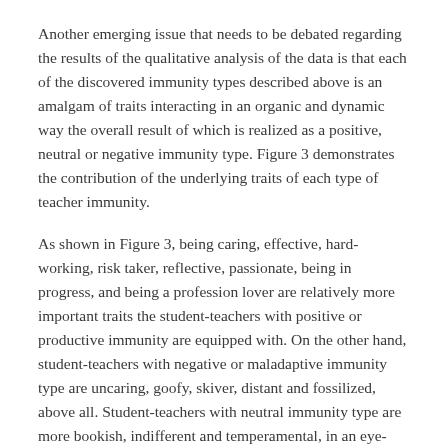Another emerging issue that needs to be debated regarding the results of the qualitative analysis of the data is that each of the discovered immunity types described above is an amalgam of traits interacting in an organic and dynamic way the overall result of which is realized as a positive, neutral or negative immunity type. Figure 3 demonstrates the contribution of the underlying traits of each type of teacher immunity.
As shown in Figure 3, being caring, effective, hard-working, risk taker, reflective, passionate, being in progress, and being a profession lover are relatively more important traits the student-teachers with positive or productive immunity are equipped with. On the other hand, student-teachers with negative or maladaptive immunity type are uncaring, goofy, skiver, distant and fossilized, above all. Student-teachers with neutral immunity type are more bookish, indifferent and temperamental, in an eye-catching manner.
According to Figure 3, it can be argued that each immunity type is fed by a blend of various characteristics, the reinforcement of each leads to a stronger orientation of each type. However, it has to be